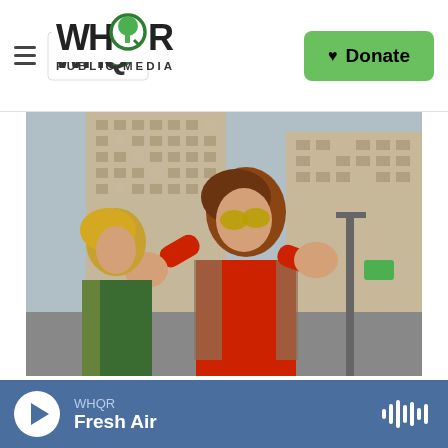WHQR PUBLIC MEDIA | Donate
[Figure (photo): Two performers dressed in colorful 1970s-style outfits with afros and sunglasses pose with hands raised in front of a tall building. The person in the foreground wears a red shirt and patterned vest; the person behind wears a green jacket.]
Joannie Lafrenière For NPR
Disco Délix, a funky duo armed with prominent afros, long stilts and night-
WHQR Fresh Air